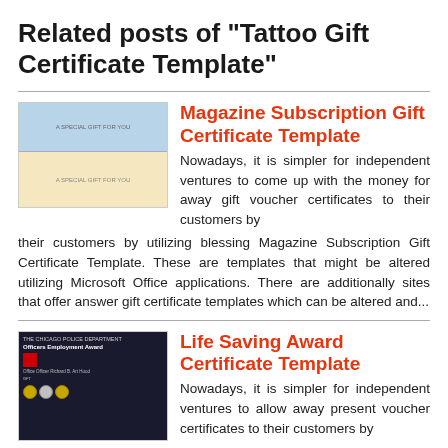Related posts of "Tattoo Gift Certificate Template"
Magazine Subscription Gift Certificate Template
[Figure (illustration): Thumbnail image of a Magazine Subscription Gift Certificate Template with blue and beige colored design]
Nowadays, it is simpler for independent ventures to come up with the money for away gift voucher certificates to their customers by utilizing blessing Magazine Subscription Gift Certificate Template. These are templates that might be altered utilizing Microsoft Office applications. There are additionally sites that offer answer gift certificate templates which can be altered and...
Life Saving Award Certificate Template
[Figure (illustration): Thumbnail image of a Life Saving Award Certificate with dark navy background, police department header, and gold badge seals]
Nowadays, it is simpler for independent ventures to allow away present voucher certificates to their customers by utilizing blessing Life Saving Award Certificate Template. These are templates that might be altered utilizing Microsoft Office applications. There are additionally sites that pay for unqualified gift certificate templates which can be altered and printed out. A few...